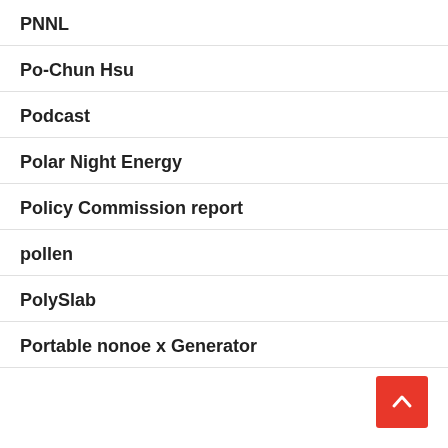PNNL
Po-Chun Hsu
Podcast
Polar Night Energy
Policy Commission report
pollen
PolySlab
Portable nonoe x Generator